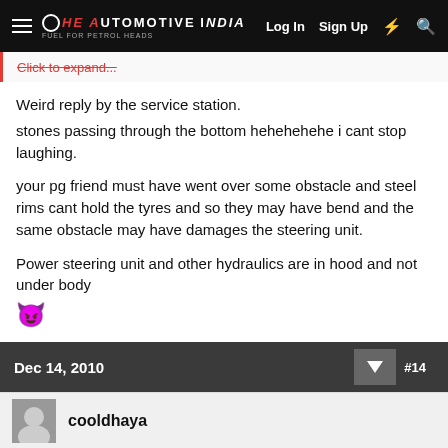The Automotive India — Log In  Sign Up
Click to expand...
Weird reply by the service station.
stones passing through the bottom hehehehehe i cant stop laughing.
your pg friend must have went over some obstacle and steel rims cant hold the tyres and so they may have bend and the same obstacle may have damages the steering unit.
Power steering unit and other hydraulics are in hood and not under body 😈
Wrong part by your friend to install 205 section on stock steel rims with narrower J
Dec 14, 2010  #14
cooldhaya